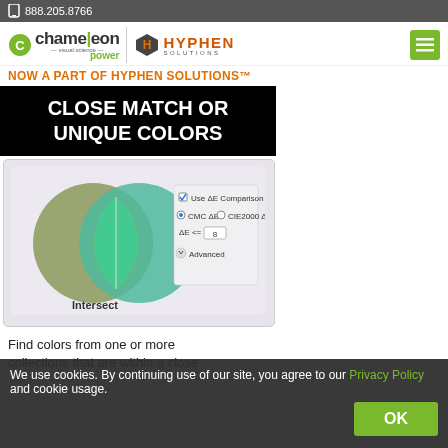888.205.8766
[Figure (logo): Chameleon Power / Hyphen Solutions logo header with navigation menu button]
NOW A PART OF HYPHEN SOLUTIONS™
CLOSE MATCH OR UNIQUE COLORS
[Figure (screenshot): Screenshot showing color comparison UI with two overlapping circles (Intersect) and ΔE comparison options: CMC ΔE, CIE2000 ΔE, ΔE <= 8, Advanced]
Find colors from one or more collections that are within a close...
We use cookies. By continuing use of our site, you agree to our Privacy Policy and cookie usage.